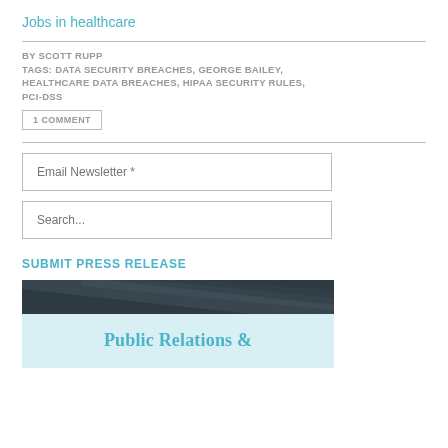Jobs in healthcare
BY SCOTT RUPP
TAGS: DATA SECURITY BREACHES, GEORGE BAILEY, HEALTHCARE DATA BREACHES, HIPAA SECURITY RULES, PCI-DSS
1 COMMENT
Email Newsletter *
Search...
SUBMIT PRESS RELEASE
[Figure (illustration): Banner image with dark top strip and light blue bottom area containing 'Public Relations &' text]